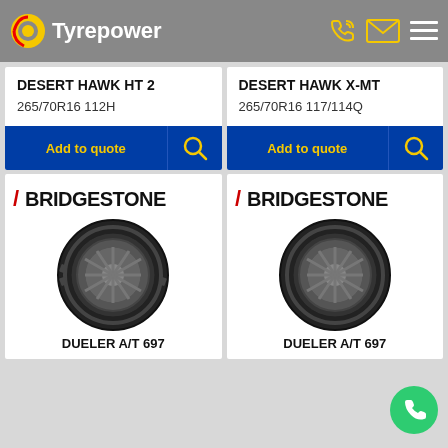Tyrepower
DESERT HAWK HT 2
265/70R16 112H
Add to quote
DESERT HAWK X-MT
265/70R16 117/114Q
Add to quote
[Figure (logo): Bridgestone logo - left card]
[Figure (photo): Bridgestone Dueler A/T 697 tire - left]
DUELER A/T 697
[Figure (logo): Bridgestone logo - right card]
[Figure (photo): Bridgestone Dueler A/T 697 tire - right]
DUELER A/T 697